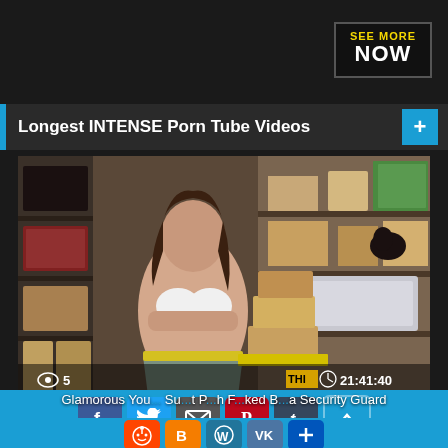[Figure (screenshot): SEE MORE NOW banner advertisement button with yellow text 'SEE MORE' and white text 'NOW' on dark background]
Longest INTENSE Porn Tube Videos
[Figure (screenshot): Video thumbnail showing a storage room scene with view count of 5 and duration 21:41:40 overlaid, with THI badge]
Glamorous You... Su... t P...h F...ked B...a Security Guard
[Figure (screenshot): Social media sharing icons bar: Facebook, Twitter, Email, Pinterest, Tumblr, up-arrow, Reddit, Blogger, WordPress, VK, More]